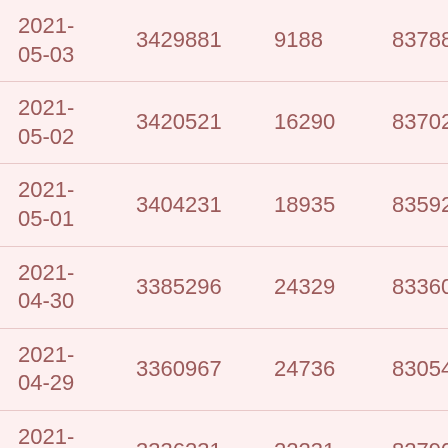| 2021-05-03 | 3429881 | 9188 | 83788 | 84 |
| 2021-05-02 | 3420521 | 16290 | 83702 | 110 |
| 2021-05-01 | 3404231 | 18935 | 83592 | 232 |
| 2021-04-30 | 3385296 | 24329 | 83360 | 306 |
| 2021-04-29 | 3360967 | 24736 | 83054 | 264 |
| 2021-04-28 | 3336231 | 22231 | 82790 | 312 |
| 2021-04-27 | 3314000 | 10976 | 82478 | 344 |
| 2021-04-26 | 3303024 | 11907 | 82134 | 60 |